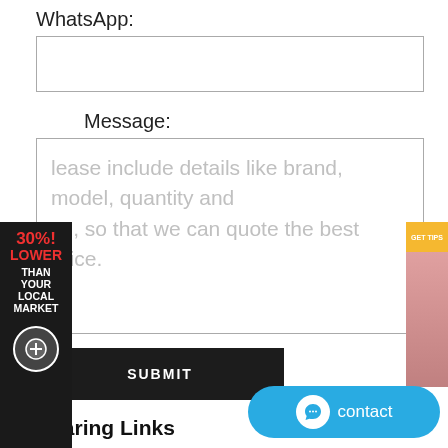WhatsApp:
Message:
Please include details like brand, model, quantity and etc., so that we can quote the best price.
SUBMIT
Bearing Links
Best Sale FAG 23252-B-K-MB AH2352G bearing high speed low
NU3306 KOYO Bearing search bearing bearing cheaper
KOYO 7010C Bearing – Ball Roller Bearings Supplier
INA - SL014940 BEARING - SL014940(INA) Malta
32944XUE NTN Bearing shop bearing industrial g
NTN - 6228LLU BEARING - 6228LLU(NTN) Spain | CRB BEARING
[Figure (infographic): Ad banner on left side: dark background with '30%! LOWER THAN YOUR LOCAL MARKET' text in red and white, with a circular logo at bottom]
[Figure (photo): Ad banner on right side: orange/gold background with partial image of a person]
[Figure (other): Blue contact button with chat icon and 'contact' label]